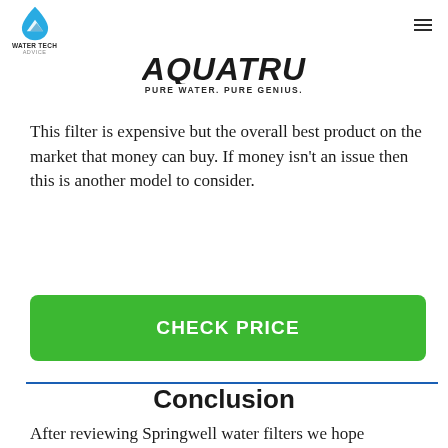WATER TECH ADVICE
[Figure (logo): AquaTru logo - partial crop showing bottom of brand name in bold italic letters with tagline PURE WATER. PURE GENIUS.]
This filter is expensive but the overall best product on the market that money can buy. If money isn't an issue then this is another model to consider.
CHECK PRICE
Conclusion
After reviewing Springwell water filters we hope